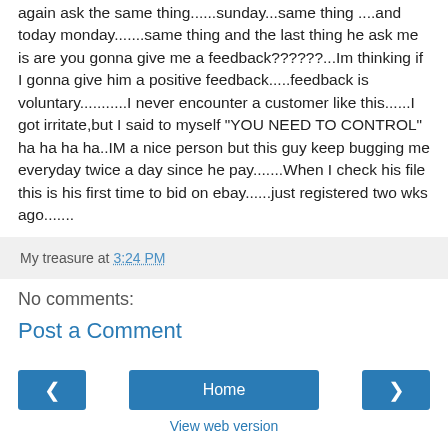again ask the same thing......sunday...same thing ....and today monday.......same thing and the last thing he ask me is are you gonna give me a feedback??????...Im thinking if I gonna give him a positive feedback.....feedback is voluntary...........I never encounter a customer like this......I got irritate,but I said to myself "YOU NEED TO CONTROL" ha ha ha ha..IM a nice person but this guy keep bugging me everyday twice a day since he pay.......When I check his file this is his first time to bid on ebay......just registered two wks ago.......
My treasure at 3:24 PM
No comments:
Post a Comment
◄   Home   ►
View web version